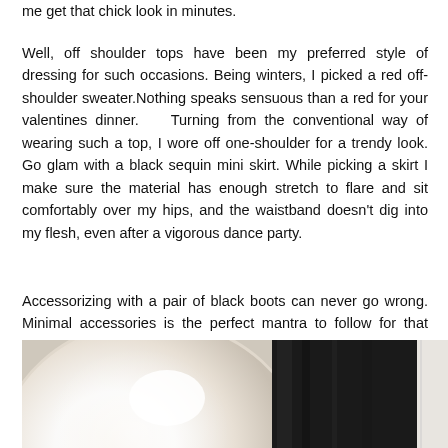me get that chick look in minutes.
Well, off shoulder tops have been my preferred style of dressing for such occasions. Being winters, I picked a red off-shoulder sweater.Nothing speaks sensuous than a red for your valentines dinner.   Turning from the conventional way of wearing such a top, I wore off one-shoulder for a trendy look. Go glam with a black sequin mini skirt. While picking a skirt I make sure the material has enough stretch to flare and sit comfortably over my hips, and the waistband doesn't dig into my flesh, even after a vigorous dance party.
Accessorizing with a pair of black boots can never go wrong. Minimal accessories is the perfect mantra to follow for that chick yet fun look for the love night.
[Figure (photo): A photograph showing what appears to be a reflective or metallic surface on the left and a dark (black) fabric or clothing item on the right, partially cropped.]